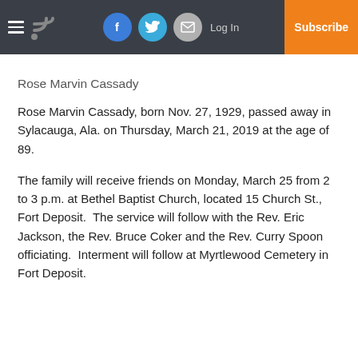Rose Marvin Cassady — [navigation bar with hamburger, RSS icon, Facebook, Twitter, Email social buttons, Log In, Subscribe]
Rose Marvin Cassady
Rose Marvin Cassady, born Nov. 27, 1929, passed away in Sylacauga, Ala. on Thursday, March 21, 2019 at the age of 89.
The family will receive friends on Monday, March 25 from 2 to 3 p.m. at Bethel Baptist Church, located 15 Church St., Fort Deposit.  The service will follow with the Rev. Eric Jackson, the Rev. Bruce Coker and the Rev. Curry Spoon officiating.  Interment will follow at Myrtlewood Cemetery in Fort Deposit.